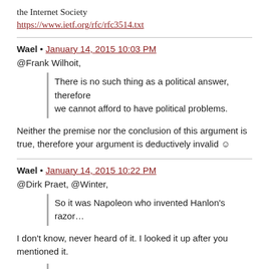the Internet Society
https://www.ietf.org/rfc/rfc3514.txt
Wael • January 14, 2015 10:03 PM
@Frank Wilhoit,
There is no such thing as a political answer, therefore we cannot afford to have political problems.
Neither the premise nor the conclusion of this argument is true, therefore your argument is deductively invalid ☺
Wael • January 14, 2015 10:22 PM
@Dirk Praet, @Winter,
So it was Napoleon who invented Hanlon's razor…
I don't know, never heard of it. I looked it up after you mentioned it.
Not necessarily. Even with surveillance done right